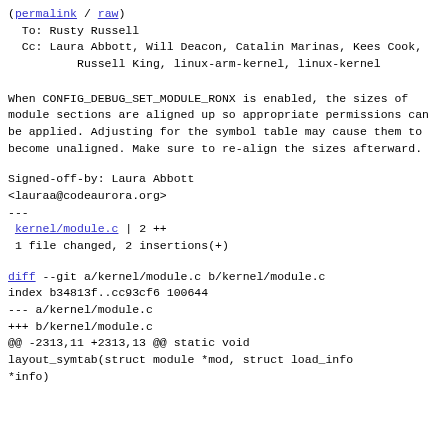(permalink / raw)
  To: Rusty Russell
  Cc: Laura Abbott, Will Deacon, Catalin Marinas, Kees Cook,
          Russell King, linux-arm-kernel, linux-kernel
When CONFIG_DEBUG_SET_MODULE_RONX is enabled, the sizes of
module sections are aligned up so appropriate permissions can
be applied. Adjusting for the symbol table may cause them to
become unaligned. Make sure to re-align the sizes afterward.
Signed-off-by: Laura Abbott
<lauraa@codeaurora.org>
---
kernel/module.c | 2 ++
 1 file changed, 2 insertions(+)
diff --git a/kernel/module.c b/kernel/module.c
index b34813f..cc93cf6 100644
--- a/kernel/module.c
+++ b/kernel/module.c
@@ -2313,11 +2313,13 @@ static void
layout_symtab(struct module *mod, struct load_info
*info)